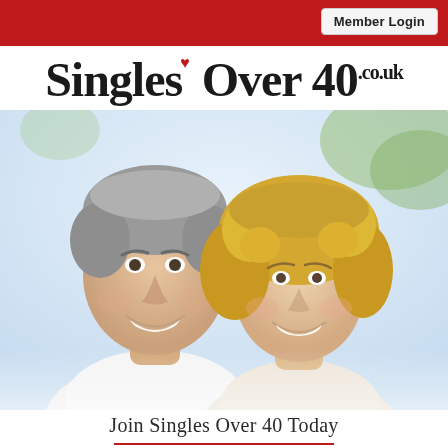Member Login
Singles Over 40 .co.uk
[Figure (photo): A smiling middle-aged couple (man with grey hair and woman with curly blonde hair) photographed outdoors against a bright background with blurred green foliage.]
Join Singles Over 40 Today